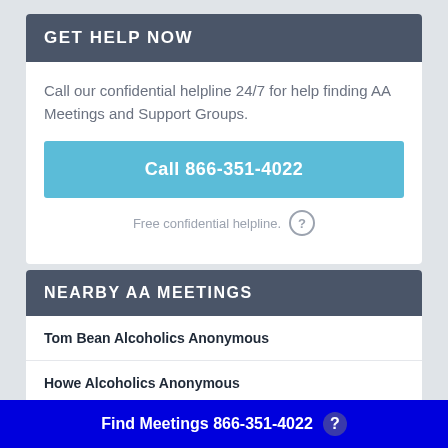GET HELP NOW
Call our confidential helpline 24/7 for help finding AA Meetings and Support Groups.
Call 866-351-4022
Free confidential helpline.
NEARBY AA MEETINGS
Tom Bean Alcoholics Anonymous
Howe Alcoholics Anonymous
Find Meetings 866-351-4022